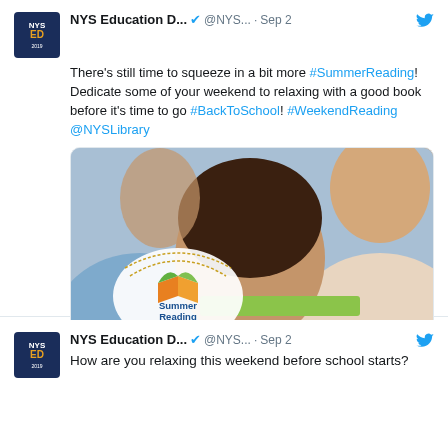[Figure (screenshot): Twitter post by NYS Education Department about Summer Reading, Sep 2, with image of children reading]
NYS Education D... @NYS... · Sep 2 — There's still time to squeeze in a bit more #SummerReading! Dedicate some of your weekend to relaxing with a good book before it's time to go #BackToSchool! #WeekendReading @NYSLibrary
[Figure (photo): Photo of a girl and adults smiling and reading a book together with Summer Reading at New York Libraries logo]
NYS Education D... @NYS... · Sep 2 — How are you relaxing this weekend before school starts?